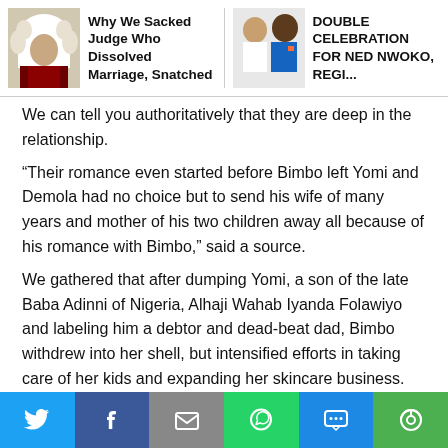[Figure (screenshot): Top navigation bar with two article teasers: 'Why We Sacked Judge Who Dissolved Marriage, Snatched...' and 'DOUBLE CELEBRATION FOR NED NWOKO, REGI...']
We can tell you authoritatively that they are deep in the relationship.
“Their romance even started before Bimbo left Yomi and Demola had no choice but to send his wife of many years and mother of his two children away all because of his romance with Bimbo,” said a source.
We gathered that after dumping Yomi, a son of the late Baba Adinni of Nigeria, Alhaji Wahab Iyanda Folawiyo and labeling him a debtor and dead-beat dad, Bimbo withdrew into her shell, but intensified efforts in taking care of her kids and expanding her skincare business.
[Figure (infographic): Social media share bar with Twitter, Facebook, Email, WhatsApp, SMS, and More buttons]